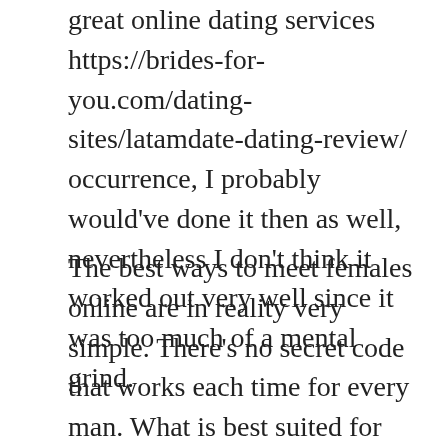great online dating services https://brides-for-you.com/dating-sites/latamdate-dating-review/ occurrence, I probably would've done it then as well, nevertheless I don't think it worked out very well since it was too much of a mental grind.
The best ways to meet females online are in reality very simple. There's no secret code that works each time for every man. What is best suited for me is to always be around women socially. In other words, carry out stuff with girls for parties, pubs, clubs, the world wide web, and other things that you can find yourself participating in with girls. I've also done this